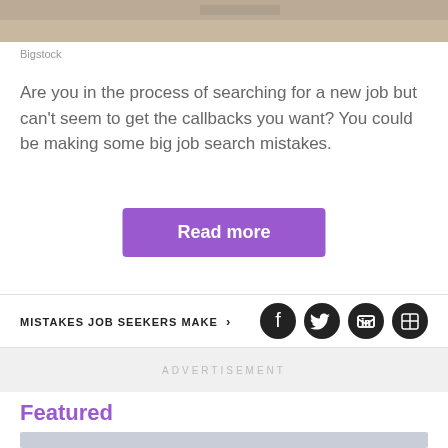[Figure (photo): Top portion of a photo showing a person at a desk, cropped at top]
Bigstock
Are you in the process of searching for a new job but can't seem to get the callbacks you want? You could be making some big job search mistakes.
Read more
MISTAKES JOB SEEKERS MAKE  ›
[Figure (infographic): Social media icons: Facebook, Twitter, LinkedIn, Flipboard]
ADVERTISEMENT
Featured
[Figure (illustration): Illustration with question marks in dark navy blue on a grey background]